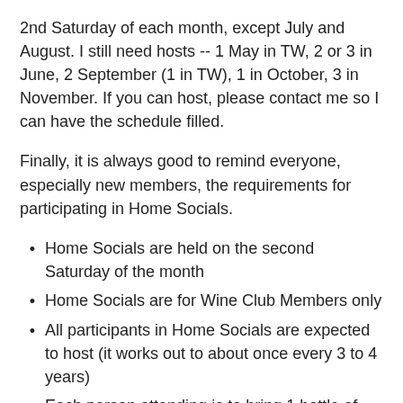2nd Saturday of each month, except July and August. I still need hosts -- 1 May in TW, 2 or 3 in June, 2 September (1 in TW), 1 in October, 3 in November. If you can host, please contact me so I can have the schedule filled.
Finally, it is always good to remind everyone, especially new members, the requirements for participating in Home Socials.
Home Socials are held on the second Saturday of the month
Home Socials are for Wine Club Members only
All participants in Home Socials are expected to host (it works out to about once every 3 to 4 years)
Each person attending is to bring 1 bottle of wine (2 per couple) valued at least $10.